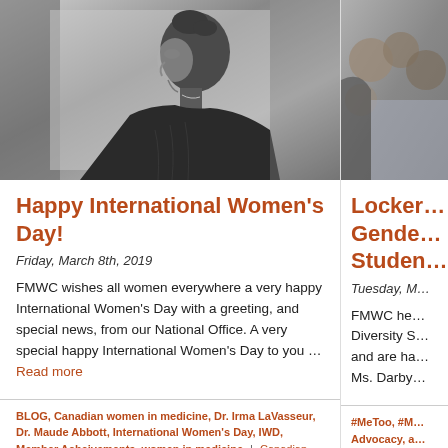[Figure (photo): Black and white historical photograph of a woman in profile, looking left, wearing dark clothing, hair up]
Happy International Women's Day!
Friday, March 8th, 2019
FMWC wishes all women everywhere a very happy International Women's Day with a greeting, and special news, from our National Office.  A very special happy International Women's Day to you … Read more
BLOG, Canadian women in medicine, Dr. Irma LaVasseur, Dr. Maude Abbott, International Women's Day, IWD, Member Acheivements, women in medicine | Canadian women in medicine, Dr. Irma Lavasseur, Dr. Maude Abbott, Dr. Sarita Verma, International Women's Day, IWD2019
[Figure (photo): Partial black and white or muted photo visible at right edge, partially cropped]
Locker… Gende… Studen…
Tuesday, M…
FMWC he… Diversity S… and are ha… Ms. Darby…
#MeToo, #M… Advocacy, a… contest, FM… Gender-ba… System Ref… women in m…